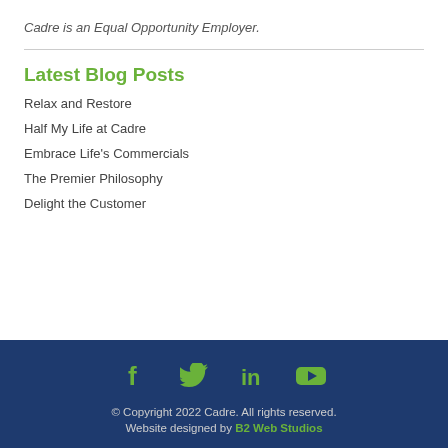Cadre is an Equal Opportunity Employer.
Latest Blog Posts
Relax and Restore
Half My Life at Cadre
Embrace Life's Commercials
The Premier Philosophy
Delight the Customer
© Copyright 2022 Cadre. All rights reserved. Website designed by B2 Web Studios